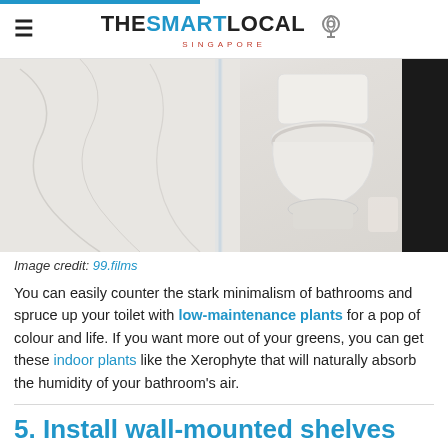THE SMART LOCAL SINGAPORE
[Figure (photo): Bathroom interior with marble tiles, glass shower partition, and white toilet]
Image credit: 99.films
You can easily counter the stark minimalism of bathrooms and spruce up your toilet with low-maintenance plants for a pop of colour and life. If you want more out of your greens, you can get these indoor plants like the Xerophyte that will naturally absorb the humidity of your bathroom's air.
5. Install wall-mounted shelves